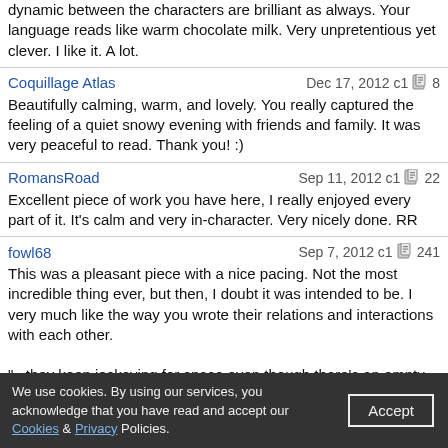dynamic between the characters are brilliant as always. Your language reads like warm chocolate milk. Very unpretentious yet clever. I like it. A lot.
Coquillage Atlas
Dec 17, 2012 c1 8
Beautifully calming, warm, and lovely. You really captured the feeling of a quiet snowy evening with friends and family. It was very peaceful to read. Thank you! :)
RomansRoad
Sep 11, 2012 c1 22
Excellent piece of work you have here, I really enjoyed every part of it. It's calm and very in-character. Very nicely done. RR
fowl68
Sep 7, 2012 c1 241
This was a pleasant piece with a nice pacing. Not the most incredible thing ever, but then, I doubt it was intended to be. I very much like the way you wrote their relations and interactions with each other.

"...they keep jockeying for space even though there's an empty chair two feet away." As soon as I read this line, I was reminded of me and my siblings, so I got a good grin out of that. Thought I'd share.

Thanks for writing this!
delxxx
Aug 19, 2012 c1
It's just something else - this piece. It's mind blowing in its normality. Really well done.
We use cookies. By using our services, you acknowledge that you have read and accept our Cookies & Privacy Policies. Accept